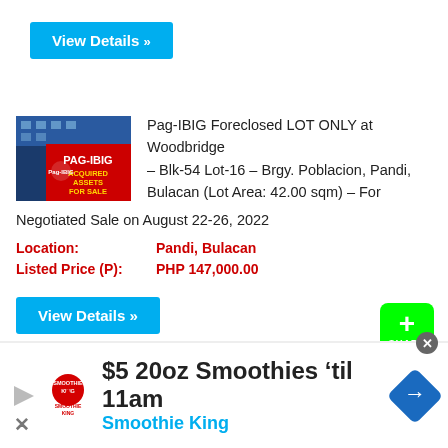View Details »
[Figure (photo): Pag-IBIG Acquired Assets For Sale signage/building image]
Pag-IBIG Foreclosed LOT ONLY at Woodbridge – Blk-54 Lot-16 – Brgy. Poblacion, Pandi, Bulacan (Lot Area: 42.00 sqm) – For Negotiated Sale on August 22-26, 2022
Location: Pandi, Bulacan
Listed Price (P): PHP 147,000.00
View Details »
[Figure (infographic): Green share button with plus sign and SHARE label]
$5 20oz Smoothies 'til 11am Smoothie King